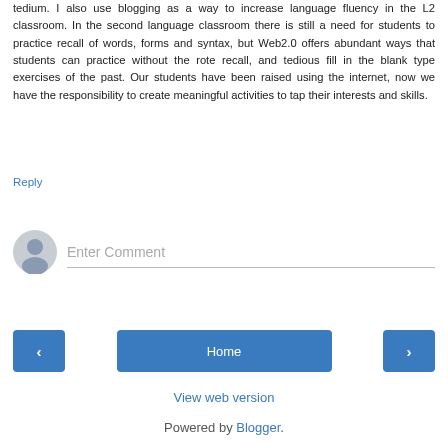tedium. I also use blogging as a way to increase language fluency in the L2 classroom. In the second language classroom there is still a need for students to practice recall of words, forms and syntax, but Web2.0 offers abundant ways that students can practice without the rote recall, and tedious fill in the blank type exercises of the past. Our students have been raised using the internet, now we have the responsibility to create meaningful activities to tap their interests and skills.
Reply
[Figure (other): Comment input area with avatar icon and 'Enter Comment' placeholder text field]
[Figure (other): Navigation bar with left arrow button, Home button, and right arrow button]
View web version
Powered by Blogger.